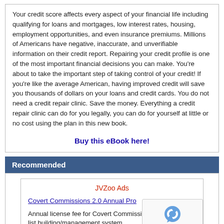Your credit score affects every aspect of your financial life including qualifying for loans and mortgages, low interest rates, housing, employment opportunities, and even insurance premiums. Millions of Americans have negative, inaccurate, and unverifiable information on their credit report. Repairing your credit profile is one of the most important financial decisions you can make. You're about to take the important step of taking control of your credit! If you're like the average American, having improved credit will save you thousands of dollars on your loans and credit cards. You do not need a credit repair clinic. Save the money. Everything a credit repair clinic can do for you legally, you can do for yourself at little or no cost using the plan in this new book.
Buy this eBook here!
Recommended
JVZoo Ads
Covert Commissions 2.0 Annual Pro
Annual license fee for Covert Commissions lead gen and list building/management system